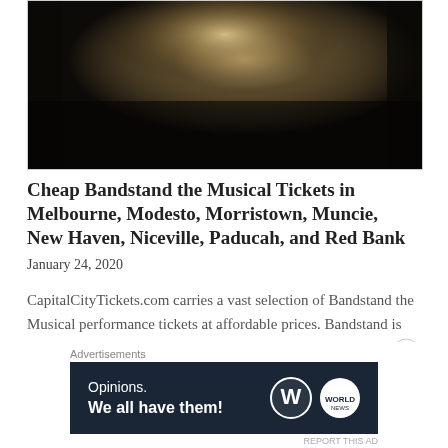[Figure (photo): Dark atmospheric concert stage photo with warm golden haze/smoke lighting effect against dark background]
Cheap Bandstand the Musical Tickets in Melbourne, Modesto, Morristown, Muncie, New Haven, Niceville, Paducah, and Red Bank
January 24, 2020
CapitalCityTickets.com carries a vast selection of Bandstand the Musical performance tickets at affordable prices. Bandstand is
Advertisements
[Figure (screenshot): WordPress advertisement banner: 'Opinions. We all have them!' with WordPress logo and World News logo on dark navy background]